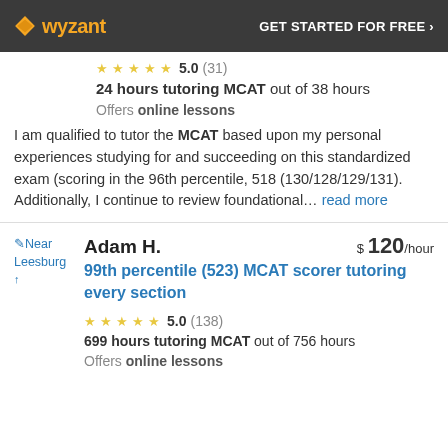wyzant  GET STARTED FOR FREE ›
5.0 (31)
24 hours tutoring MCAT out of 38 hours
Offers online lessons
I am qualified to tutor the MCAT based upon my personal experiences studying for and succeeding on this standardized exam (scoring in the 96th percentile, 518 (130/128/129/131). Additionally, I continue to review foundational… read more
Near Leesburg
Adam H.
$120/hour
99th percentile (523) MCAT scorer tutoring every section
5.0 (138)
699 hours tutoring MCAT out of 756 hours
Offers online lessons